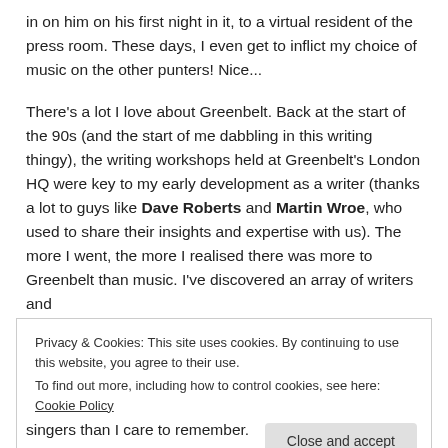in on him on his first night in it, to a virtual resident of the press room. These days, I even get to inflict my choice of music on the other punters! Nice...
There’s a lot I love about Greenbelt. Back at the start of the 90s (and the start of me dabbling in this writing thingy), the writing workshops held at Greenbelt’s London HQ were key to my early development as a writer (thanks a lot to guys like Dave Roberts and Martin Wroe, who used to share their insights and expertise with us). The more I went, the more I realised there was more to Greenbelt than music. I’ve discovered an array of writers and
Privacy & Cookies: This site uses cookies. By continuing to use this website, you agree to their use.
To find out more, including how to control cookies, see here: Cookie Policy
singers than I care to remember.